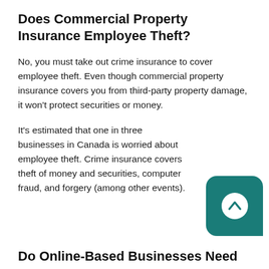Does Commercial Property Insurance Employee Theft?
No, you must take out crime insurance to cover employee theft. Even though commercial property insurance covers you from third-party property damage, it won't protect securities or money.
It's estimated that one in three businesses in Canada is worried about employee theft. Crime insurance covers theft of money and securities, computer fraud, and forgery (among other events).
Do Online-Based Businesses Need